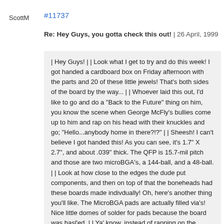ScottM
#11737
Re: Hey Guys, you gotta check this out! | 26 April, 1999
| Hey Guys! | | Look what I get to try and do this week! I got handed a cardboard box on Friday afternoon with the parts and 20 of these little jewels! That's both sides of the board by the way... | | Whoever laid this out, I'd like to go and do a "Back to the Future" thing on him, you know the scene when George McFly's bullies come up to him and rap on his head with their knuckles and go; "Hello...anybody home in there?!?" | | Sheesh! I can't believe I got handed this! As you can see, it's 1.7" X 2.7", and about .039" thick. The QFP is 15.7-mil pitch and those are two microBGA's, a 144-ball, and a 48-ball. | | Look at how close to the edges the dude put components, and then on top of that the boneheads had these boards made indivdually! Oh, here's another thing you'll like. The MicroBGA pads are actually filled via's! Nice little domes of solder for pads because the board was hasl'ed. | | Ya' know, instead of rapping on the designers head with my knuckles, I think I'm just gonna ask him if he'll share some of the LSD he was taking when he laid this thing out... | |